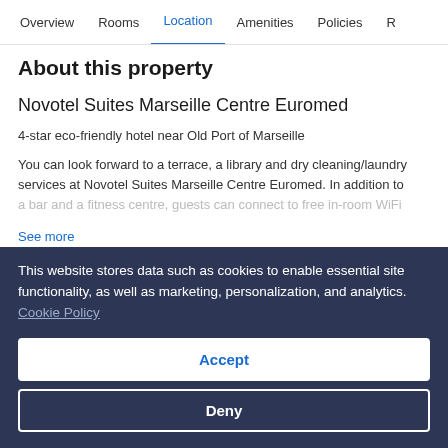Overview  Rooms  Location  Amenities  Policies  R
About this property
Novotel Suites Marseille Centre Euromed
4-star eco-friendly hotel near Old Port of Marseille
You can look forward to a terrace, a library and dry cleaning/laundry services at Novotel Suites Marseille Centre Euromed. In addition to a bar and a fitness centre, guests can connect to free in-room WiFi
See more
This website stores data such as cookies to enable essential site functionality, as well as marketing, personalization, and analytics. Cookie Policy
Accept
Deny